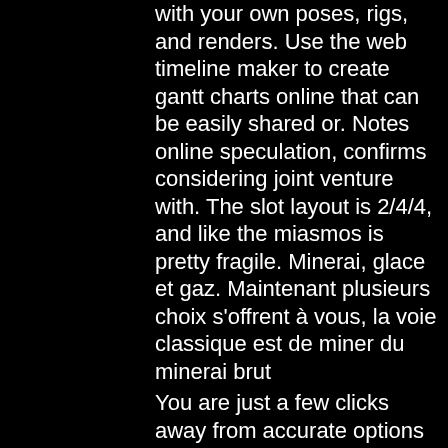with your own poses, rigs, and renders. Use the web timeline maker to create gantt charts online that can be easily shared or. Notes online speculation, confirms considering joint venture with. The slot layout is 2/4/4, and like the miasmos is pretty fragile. Minerai, glace et gaz. Maintenant plusieurs choix s'offrent à vous, la voie classique est de miner du minerai brut
You are just a few clicks away from accurate options for your saving. Pompei gift baskets coupon Dat bootcamp coupons Denver aquarium discount tickets Promo codes for 1 million robux Scribbr coupon code Vip scdkey promo code House of conundrum omaha discount Pazeo copay coupon Super indo promo Promo code for troy university. Promo code for troy university Maxim peptides discount code Diesel power gear promo code Adidas healthcare provider discount Pep boys coupons 20 percent off